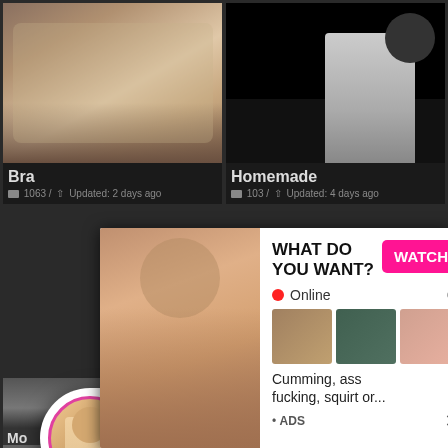[Figure (screenshot): Adult content website screenshot showing video thumbnails grid with overlay advertisements. Top row has two thumbnail cells labeled 'Bra' (1063 videos, updated 2 days ago) and 'Homemade' (103 videos, updated 4 days ago). A live notification popup overlays the middle showing 'ADS / Jeniffer 2000 / (00:12)' with a LIVE badge avatar. A secondary ad banner shows 'WHAT DO YOU WANT?' with a WATCH button, Online status, thumbnail previews, and text 'Cumming, ass fucking, squirt or...' with ADS label.]